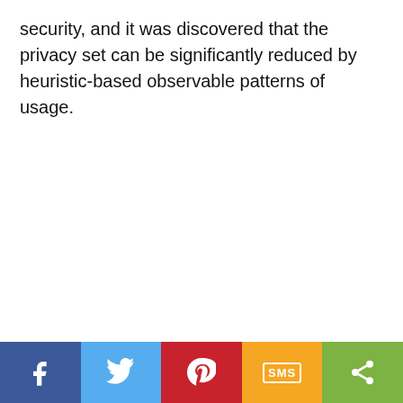security, and it was discovered that the privacy set can be significantly reduced by heuristic-based observable patterns of usage.
[Figure (other): Social sharing bar with five buttons: Facebook (blue), Twitter (light blue), Pinterest (red), SMS (yellow/orange), Share (green)]